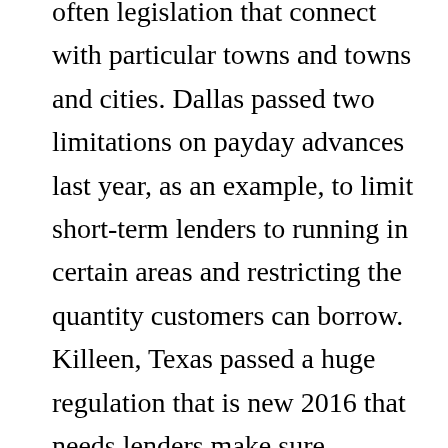often legislation that connect with particular towns and towns and cities. Dallas passed two limitations on payday advances last year, as an example, to limit short-term lenders to running in certain areas and restricting the quantity customers can borrow. Killeen, Texas passed a huge regulation that is new 2016 that needs lenders make sure customers usually do not borrow significantly more than 20% of the month-to-month earnings.
Some name loan laws in Texas connect with a